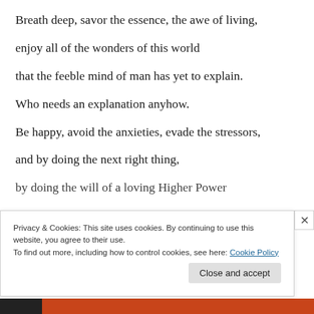Breath deep, savor the essence, the awe of living,
enjoy all of the wonders of this world
that the feeble mind of man has yet to explain.
Who needs an explanation anyhow.
Be happy, avoid the anxieties, evade the stressors,
and by doing the next right thing,
by doing the will of a loving Higher Power
Privacy & Cookies: This site uses cookies. By continuing to use this website, you agree to their use.
To find out more, including how to control cookies, see here: Cookie Policy
Close and accept